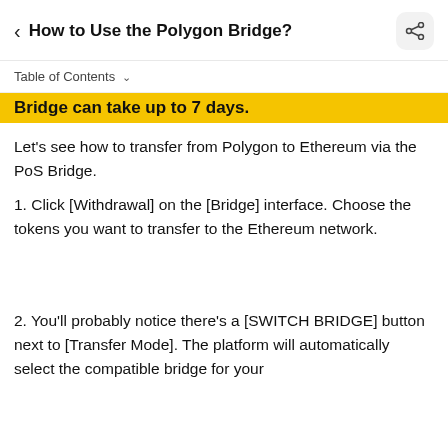How to Use the Polygon Bridge?
Table of Contents
Bridge can take up to 7 days.
Let's see how to transfer from Polygon to Ethereum via the PoS Bridge.
1. Click [Withdrawal] on the [Bridge] interface. Choose the tokens you want to transfer to the Ethereum network.
2. You'll probably notice there's a [SWITCH BRIDGE] button next to [Transfer Mode]. The platform will automatically select the compatible bridge for your